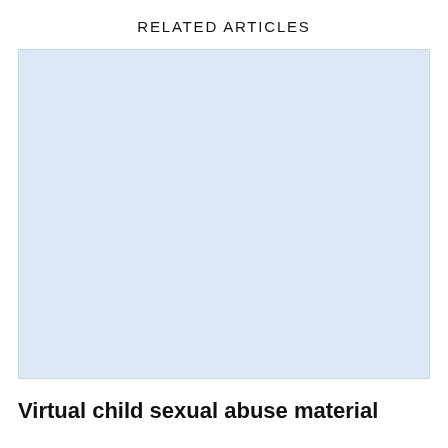RELATED ARTICLES
[Figure (photo): Light blue placeholder image box for a related article thumbnail]
Virtual child sexual abuse material